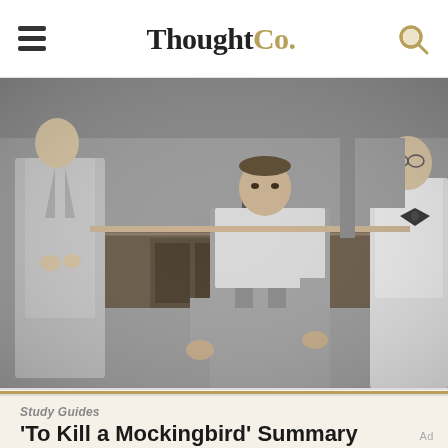ThoughtCo.
[Figure (photo): Black and white film still from To Kill a Mockingbird showing courtroom scene with men in period clothing]
Study Guides
'To Kill a Mockingbird' Summary
Ad